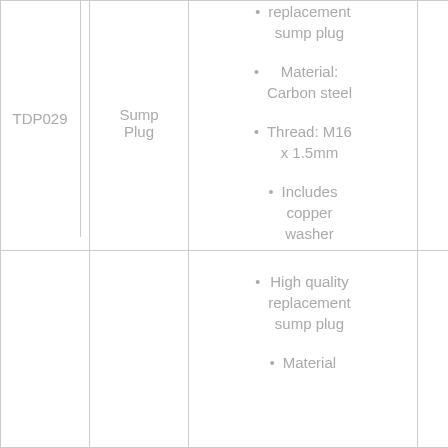| Part Number | Description | Features |  |
| --- | --- | --- | --- |
| TDP029 | Sump Plug | replacement sump plug
Material: Carbon steel
Thread: M16 x 1.5mm
Includes copper washer |  |
|  |  | High quality replacement sump plug
Material |  |